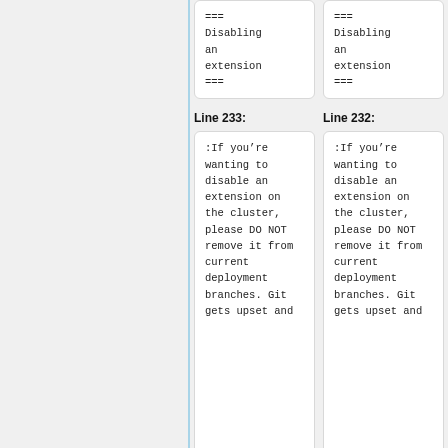=== Disabling an extension ===
=== Disabling an extension ===
Line 233:
Line 232:
:If you’re wanting to disable an extension on the cluster, please DO NOT remove it from current deployment branches. Git gets upset and
:If you’re wanting to disable an extension on the cluster, please DO NOT remove it from current deployment branches. Git gets upset and